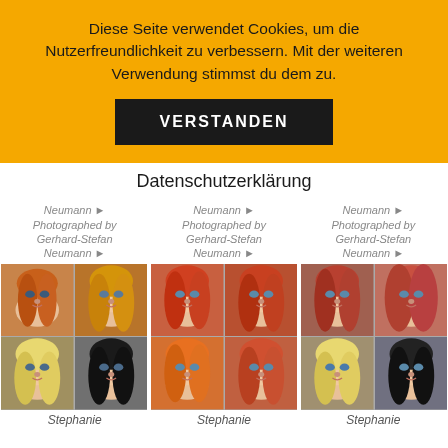Diese Seite verwendet Cookies, um die Nutzerfreundlichkeit zu verbessern. Mit der weiteren Verwendung stimmst du dem zu.
VERSTANDEN
Datenschutzerklärung
Neumann ► Photographed by Gerhard-Stefan Neumann ►
Neumann ► Photographed by Gerhard-Stefan Neumann ►
Neumann ► Photographed by Gerhard-Stefan Neumann ►
[Figure (photo): 2x2 grid of AI-generated female portrait photos with various hair colors (orange, blonde, black)]
[Figure (photo): 2x2 grid of AI-generated female portrait photos with orange/red hair colors]
[Figure (photo): 2x2 grid of AI-generated female portrait photos with various hair colors (red, blonde, dark)]
Stephanie
Stephanie
Stephanie